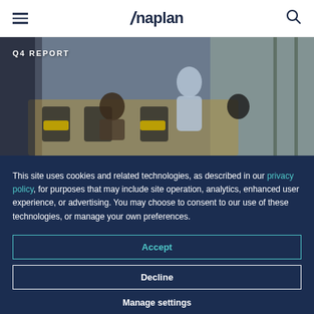Anaplan
[Figure (photo): Aerial view of people in a modern office space around a table, with text 'Q4 REPORT' overlaid in white on the upper left.]
This site uses cookies and related technologies, as described in our privacy policy, for purposes that may include site operation, analytics, enhanced user experience, or advertising. You may choose to consent to our use of these technologies, or manage your own preferences.
Accept
Decline
Manage settings